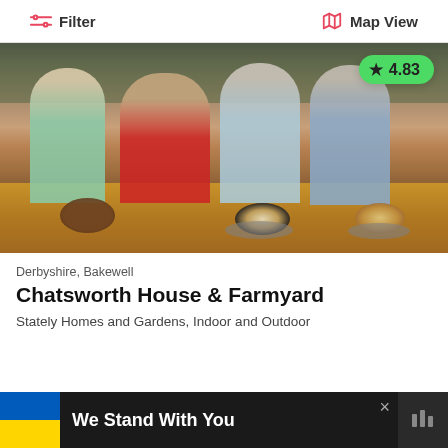Filter | Map View
[Figure (photo): Photo of children and adult woman interacting with guinea pigs on a wooden table in an indoor farmyard setting. Rating badge showing 4.83 in green bubble with star.]
Derbyshire, Bakewell
Chatsworth House & Farmyard
Stately Homes and Gardens, Indoor and Outdoor
We Stand With You